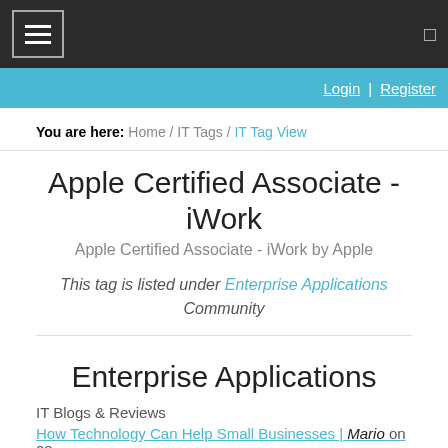Navigation bar with hamburger menu and search icon
Login | Register
You are here: Home / IT Tags / IT Tag View
Apple Certified Associate - iWork
Apple Certified Associate - iWork by Apple
This tag is listed under Enterprise Applications Community
Enterprise Applications
IT Blogs & Reviews
How Technology Can Help Small Businesses | Mario on 08